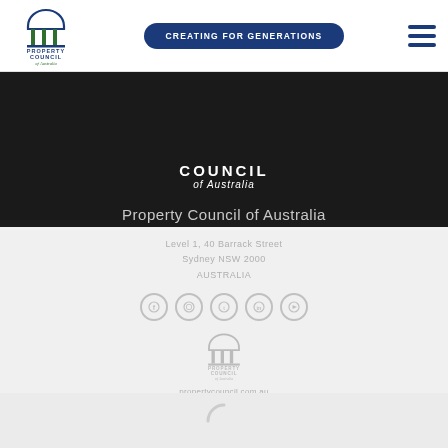[Figure (logo): Property Council of Australia logo with building/columns icon, blue and green colors]
CREATING FOR GENERATIONS
[Figure (other): Hamburger/menu icon with three horizontal dark blue lines]
COUNCIL of Australia
Property Council of Australia
Level 1, 40 Barrack Street
Sydney NSW 2000
AUSTRALIA
[Figure (logo): Social media icons row: Facebook, Instagram, Twitter, LinkedIn, YouTube]
[Figure (logo): Property Council of Australia logo (greyscale)]
propertycouncil.com.au
info@propertycouncil.com.au
ABN: 13 008 474 422